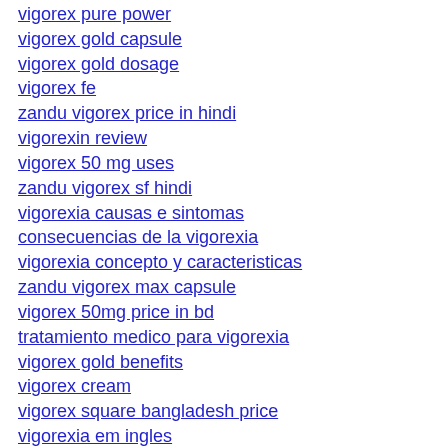vigorex pure power
vigorex gold capsule
vigorex gold dosage
vigorex fe
zandu vigorex price in hindi
vigorexin review
vigorex 50 mg uses
zandu vigorex sf hindi
vigorexia causas e sintomas
consecuencias de la vigorexia
vigorexia concepto y caracteristicas
zandu vigorex max capsule
vigorex 50mg price in bd
tratamiento medico para vigorexia
vigorex gold benefits
vigorex cream
vigorex square bangladesh price
vigorexia em ingles
zandu vigorex gold capsule ingredients
vigorexia concepto causas y consecuencias
himalaya vigorex
vigorexia causas y tratamiento
que es la vigorexia sintomas
what does vigorexin serum do
vigoril capsule